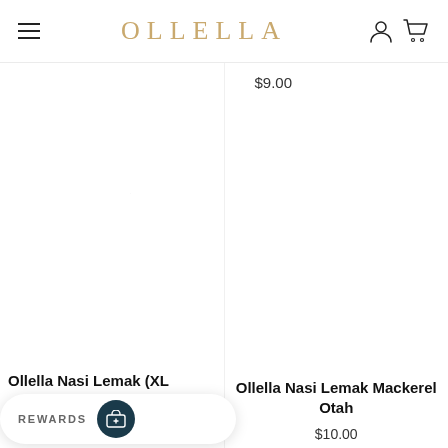OLLELLA
$9.00
[Figure (photo): Product image area for Ollella Nasi Lemak (XL) — left column, mostly white/blank]
[Figure (photo): Product image area for Ollella Nasi Lemak Mackerel Otah — right column]
Ollella Nasi Lemak (XL)
$10.00
Ollella Nasi Lemak Mackerel Otah
$10.00
REWARDS